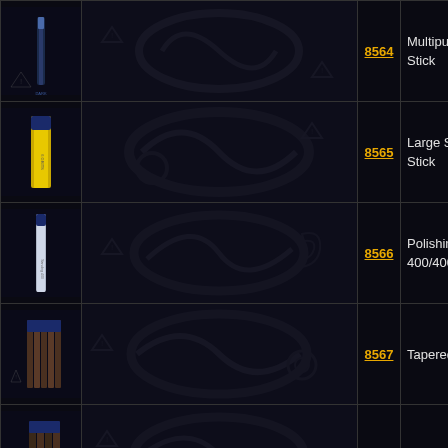| Image | Background | Code | Description |
| --- | --- | --- | --- |
| [product image] |  | 8564 | Multipurpose Sanding Stick |
| [product image] |  | 8565 | Large Surface Sanding Stick |
| [product image] |  | 8566 | Polishing Sanding Stick 400/4000 |
| [product image] |  | 8567 | Tapered Sanding Sticks |
| [product image] |  | 8568 | Contour Sanding Sticks |